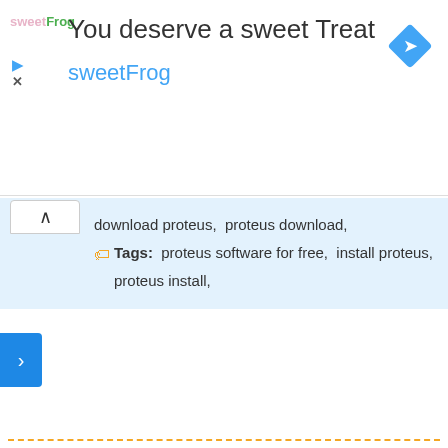[Figure (other): SweetFrog advertisement banner with logo, headline 'You deserve a sweet Treat', brand name 'sweetFrog', navigation arrow icon, play and close icons]
download proteus, proteus download,
Tags: proteus software for free, install proteus,
proteus install,
Arduino Vs Raspberry Pi
Previous Post